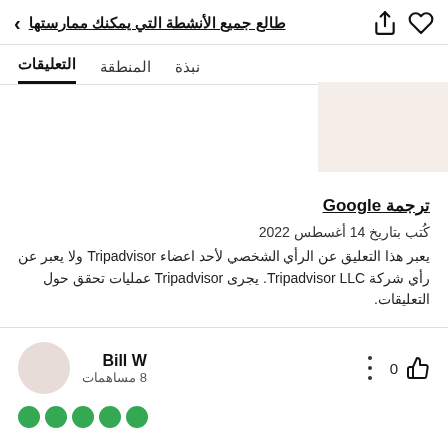طالع جميع الأنشطة التي يمكنك ممارستها
التعليقات  المنطقة  نبذة
ترجمة Google
كُتب بتاريخ 14 أغسطس 2022
يعبر هذا التعليق عن الرأي الشخصي لأحد اعضاء Tripadvisor ولا يعبر عن رأي شركة Tripadvisor LLC. يجرى Tripadvisor عمليات تحقق حول التعليقات.
Bill W
8 مساهمات
0